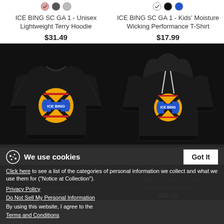[Figure (photo): Color swatches for first product (pink checked, gray, light gray)]
ICE BING SC GA 1 - Unisex Lightweight Terry Hoodie
$31.49
[Figure (photo): Color swatches for second product (white/check, black, blue)]
ICE BING SC GA 1 - Kids' Moisture Wicking Performance T-Shirt
$17.99
[Figure (photo): Black crewneck sweatshirt with ICE BING logo on chest]
[Figure (photo): Black shawl collar hoodie with ICE BING logo on chest]
We use cookies
Click here to see a list of the categories of personal information we collect and what we use them for ("Notice at Collection").
[Figure (photo): Color swatches for Kids' Crewneck Sweatshirt (black checked, red, dark gray, navy, green)]
ICE BING SC GA 1 - Kids' Crewneck Sweatshirt
$26.99
[Figure (photo): Color swatches for Unisex Shawl Collar Hoodie (black checked, navy)]
ICE BING SC GA 1 - Unisex Shawl Collar Hoodie
$36.49
Privacy Policy
Do Not Sell My Personal Information
By using this website, I agree to the Terms and Conditions